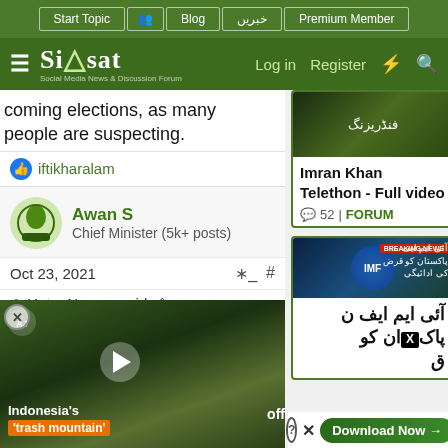Siasat.pk - Social Media News & Discussion Forum | Navigation: Start Topic, Blog, خبریں, Premium Member | Log in | Register
coming elections, as many people are suspecting.
iftikharalam
Awan S
Chief Minister (5k+ posts)
Oct 23, 2021
Hate_Nooras said:
a have a
you deny
yned by
off
[Figure (screenshot): Embedded video overlay showing Indonesia's 'trash mountain' news video with play button]
[Figure (screenshot): Right sidebar card: Imran Khan Telethon - Full video, 52 comments, FORUM tag, with Urdu text image]
[Figure (screenshot): Right sidebar card: IMF related Urdu news card with breaking news banner and download button]